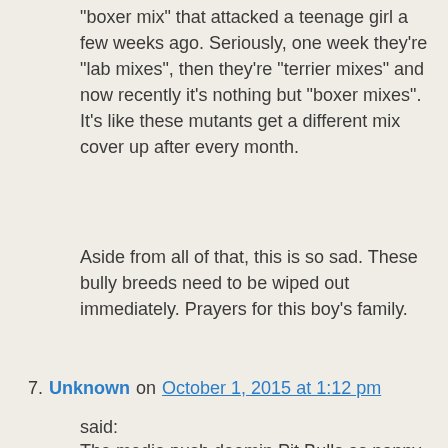"boxer mix" that attacked a teenage girl a few weeks ago. Seriously, one week they're "lab mixes", then they're "terrier mixes" and now recently it's nothing but "boxer mixes". It's like these mutants get a different mix cover up after every month.
Aside from all of that, this is so sad. These bully breeds need to be wiped out immediately. Prayers for this boy's family.
7. Unknown on October 1, 2015 at 1:12 pm said:
The media push deemin Pit Bulls as nanny dogs and bad rap dogs has encouraged negligent uneducated people to purchase these dogs. Get on petfinder.com and see how many